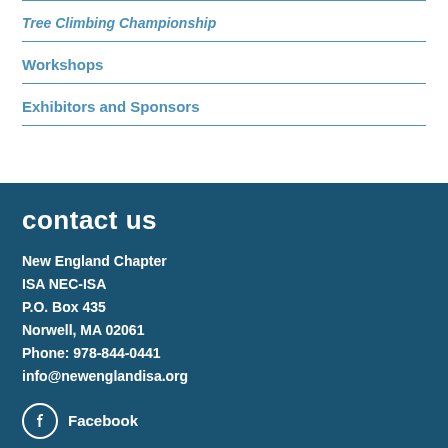Tree Climbing Championship
Workshops
Exhibitors and Sponsors
contact us
New England Chapter
ISA NEC-ISA
P.O. Box 435
Norwell, MA 02061
Phone: 978-844-0441
info@newenglandisa.org
Facebook
explore